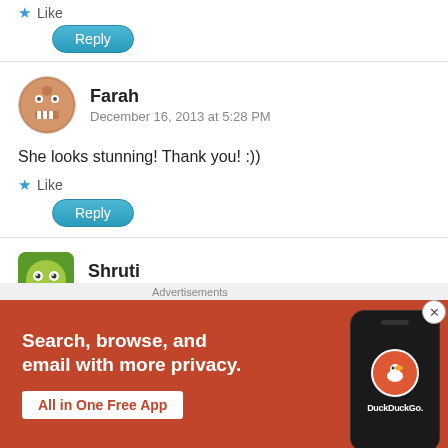Like
Reply
Farah
December 16, 2013 at 5:28 PM
She looks stunning! Thank you! :))
Like
Reply
Shruti
December 19, 2013 at 1:14 PM
NICE!! had posted her songs on 13th on my timeline. Sh
[Figure (screenshot): DuckDuckGo advertisement banner with orange background. Text: Search, browse, and email with more privacy. All in One Free App. Shows a smartphone with DuckDuckGo logo.]